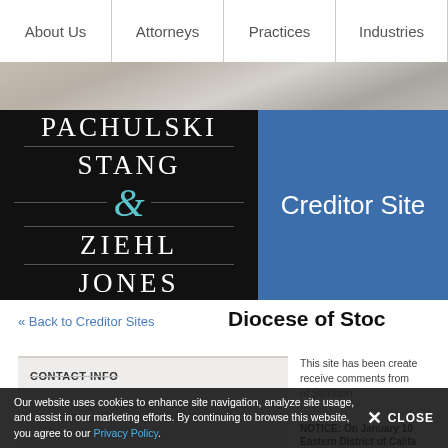About Us | Attorneys | Practices | Industries
[Figure (logo): Pachulski Stang Ziehl & Jones law firm logo on black background with white serif text]
Creditor Site
« Back to Creditor Sites
Diocese of Stoc
CONTACT INFO
This site has been create receive comments from of Stockton
NOTICE: On January 10 Eastern District of Califa
Our website uses cookies to enhance site navigation, analyze site usage, and assist in our marketing efforts. By continuing to browse this website, you agree to our Privacy Policy.